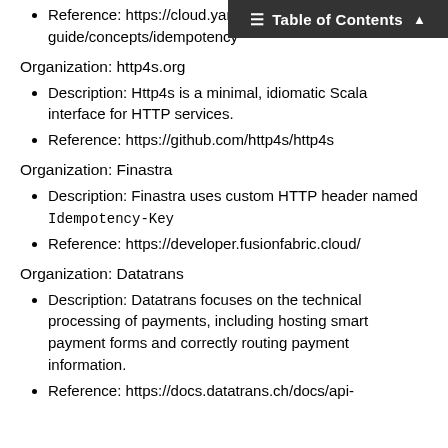Reference: https://cloud.yandex.../guide/concepts/idempotency
Organization: http4s.org
Description: Http4s is a minimal, idiomatic Scala interface for HTTP services.
Reference: https://github.com/http4s/http4s
Organization: Finastra
Description: Finastra uses custom HTTP header named Idempotency-Key
Reference: https://developer.fusionfabric.cloud/
Organization: Datatrans
Description: Datatrans focuses on the technical processing of payments, including hosting smart payment forms and correctly routing payment information.
Reference: https://docs.datatrans.ch/docs/api-